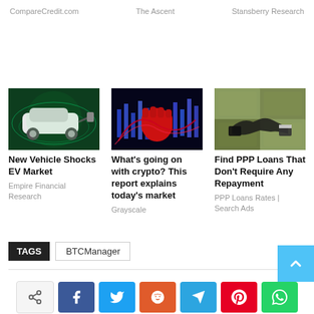CompareCredit.com   The Ascent   Stansberry Research
[Figure (photo): Electric vehicle being charged with green light effects]
New Vehicle Shocks EV Market
Empire Financial Research
[Figure (photo): Red fist over dark background with blue candlestick chart]
What's going on with crypto? This report explains today's market
Grayscale
[Figure (photo): Handshake over pile of US dollar bills]
Find PPP Loans That Don't Require Any Repayment
PPP Loans Rates | Search Ads
TAGS   BTCManager
Share buttons: share, facebook, twitter, reddit, telegram, pinterest, whatsapp